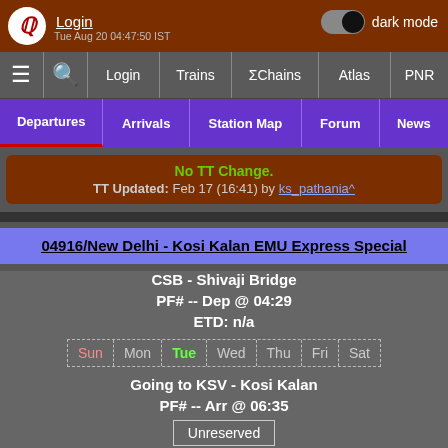Login  dark mode  Tue Aug 20 04:47:50 IST
≡ 🔍 Login Trains ΣChains Atlas PNR
Departures Arrivals Station Map Forum News
No TT Change. TT Updated: Feb 17 (16:41) by ks_pathania^
04916/New Delhi - Kosi Kalan EMU Express Special
CSB - Shivaji Bridge
PF# -- Dep @ 04:29
ETD: n/a
Sun Mon Tue Wed Thu Fri Sat
Going to KSV - Kosi Kalan
PF# -- Arr @ 06:35
Unreserved
No TT Change. TT Updated: Aug 21 (20:03) by SakshamMaheshwa^~